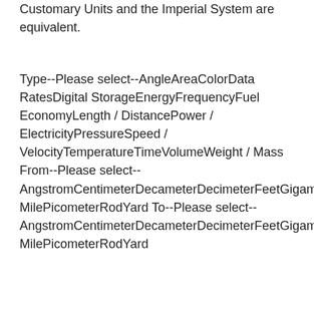Customary Units and the Imperial System are equivalent.
Type--Please select--AngleAreaColorData RatesDigital StorageEnergyFrequencyFuel EconomyLength / DistancePower / ElectricityPressureSpeed / VelocityTemperatureTimeVolumeWeight / Mass From--Please select--AngstromCentimeterDecameterDecimeterFeetGigameterHectometerInchKilometerMegameterMeterMicrometerMileMillimeterNanometerNautical MilePicometerRodYard To--Please select--AngstromCentimeterDecameterDecimeterFeetGigameterHectometerInchKilometerMegameterMeterMicrometerMillimeterNanometerNautical MilePicometerRodYard